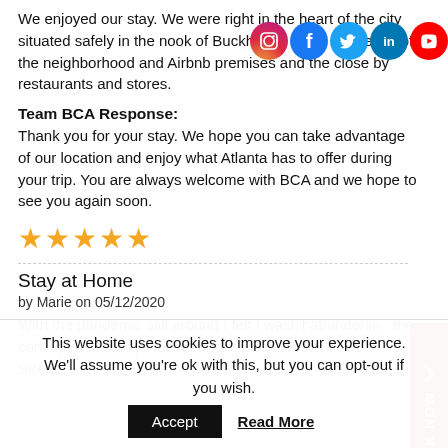We enjoyed our stay. We were right in the heart of the city situated safely in the nook of Buckhead. We enjoyed the peace of the neighborhood and Airbnb premises and the close by restaurants and stores.
[Figure (logo): Social media icons row: Instagram, Facebook, Twitter, LinkedIn, YouTube]
Team BCA Response:
Thank you for your stay. We hope you can take advantage of our location and enjoy what Atlanta has to offer during your trip. You are always welcome with BCA and we hope to see you again soon.
[Figure (other): Five gold star rating]
Stay at Home
by Marie on 05/12/2020
With the pandemic still around I felt I wasn't abandoning the concept as I always feel at home when I'm here in 2 Street.
This website uses cookies to improve your experience. We'll assume you're ok with this, but you can opt-out if you wish.